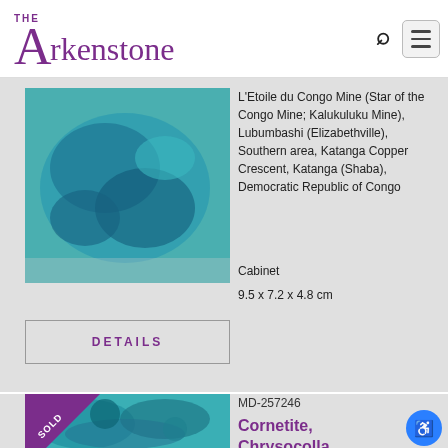[Figure (logo): The Arkenstone logo in purple serif font]
L'Etoile du Congo Mine (Star of the Congo Mine; Kalukuluku Mine), Lubumbashi (Elizabethville), Southern area, Katanga Copper Crescent, Katanga (Shaba), Democratic Republic of Congo
Cabinet
9.5 x 7.2 x 4.8 cm
DETAILS
MD-257246
Cornetite, Chrysocolla